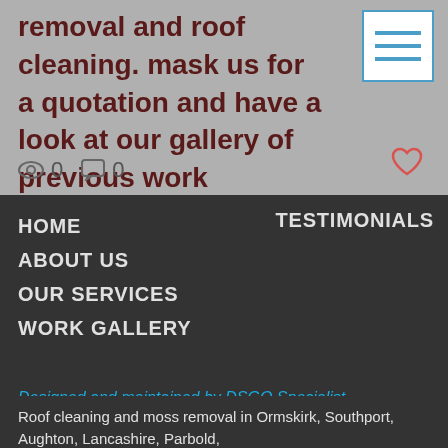removal and roof cleaning. mask us for a quotation and have a look at our gallery of previous work
[Figure (other): Hamburger menu button with three horizontal blue lines on white background]
0  0
HOME
ABOUT US
OUR SERVICES
WORK GALLERY
TESTIMONIALS
Designed and maintained by DSGO Specialist Cleaning Solutions 2017
Roof cleaning and moss removal in Ormskirk, Southport, Aughton, Lancashire, Parbold,